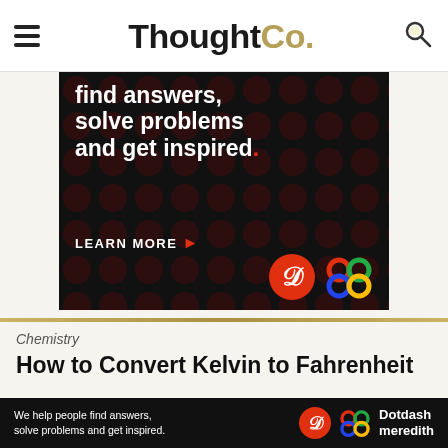ThoughtCo.
[Figure (illustration): Advertisement banner with dark background and red dot pattern. Text reads 'find answers, solve problems and get inspired.' with a LEARN MORE button and Dotdash Meredith logos.]
Chemistry
How to Convert Kelvin to Fahrenheit
[Figure (illustration): Partial view of a formula image showing (K - 273.15) * 9 and F = 310.15]
[Figure (illustration): Bottom banner ad: We help people find answers, solve problems and get inspired. Dotdash Meredith logo.]